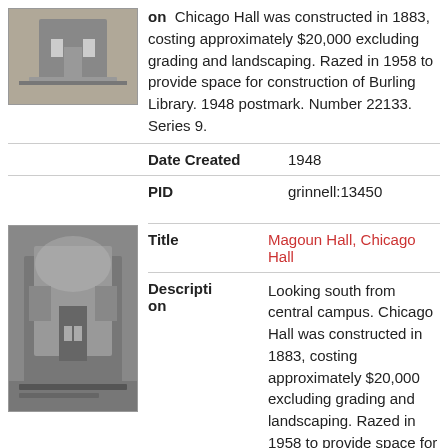[Figure (photo): Thumbnail photo of Chicago Hall / Magoun Hall building, black and white]
on: Chicago Hall was constructed in 1883, costing approximately $20,000 excluding grading and landscaping. Razed in 1958 to provide space for construction of Burling Library. 1948 postmark. Number 22133. Series 9.
| Field | Value |
| --- | --- |
| Date Created | 1948 |
| PID | grinnell:13450 |
[Figure (photo): Thumbnail photo of Magoun Hall / Chicago Hall, looking south from central campus, black and white]
Title: Magoun Hall, Chicago Hall
Description on: Looking south from central campus. Chicago Hall was constructed in 1883, costing approximately $20,000 excluding grading and landscaping. Razed in 1958 to provide space for construction of Burling Library. Number 22133. Series 9.